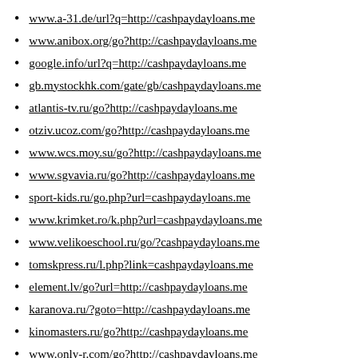www.a-31.de/url?q=http://cashpaydayloans.me
www.anibox.org/go?http://cashpaydayloans.me
google.info/url?q=http://cashpaydayloans.me
gb.mystockhk.com/gate/gb/cashpaydayloans.me
atlantis-tv.ru/go?http://cashpaydayloans.me
otziv.ucoz.com/go?http://cashpaydayloans.me
www.wcs.moy.su/go?http://cashpaydayloans.me
www.sgvavia.ru/go?http://cashpaydayloans.me
sport-kids.ru/go.php?url=cashpaydayloans.me
www.krimket.ro/k.php?url=cashpaydayloans.me
www.velikoeschool.ru/go/?cashpaydayloans.me
tomskpress.ru/l.php?link=cashpaydayloans.me
element.lv/go?url=http://cashpaydayloans.me
karanova.ru/?goto=http://cashpaydayloans.me
kinomasters.ru/go?http://cashpaydayloans.me
www.only-r.com/go?http://cashpaydayloans.me
789.ru/go.php?url=http://cashpaydayloans.me
youtubu.tv/jump?l=http://cashpaydayloans.me
www.pwnights.ru/redirect/cashpaydayloans.me